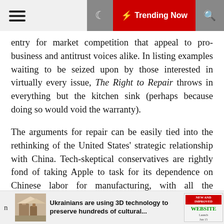≡  ☽  ⚡ Trending Now  🔍
entry for market competition that appeal to pro-business and antitrust voices alike. In listing examples waiting to be seized upon by those interested in virtually every issue, The Right to Repair throws in everything but the kitchen sink (perhaps because doing so would void the warranty).
The arguments for repair can be easily tied into the rethinking of the United States' strategic relationship with China. Tech-skeptical conservatives are rightly fond of taking Apple to task for its dependence on Chinese labor for manufacturing, with all the troubling implications of such a business relationship. Even if that specific arrangement didn't change, an iPhone that lasts a year or two longer would dramatically reduce dependence on China. It may even make manufacturing in the U.S. or a non-dictatorship comparatively affordable: People will
n   Ukrainians are using 3D technology to preserve hundreds of cultural...   NEW AND IMPROVED WEBSITE